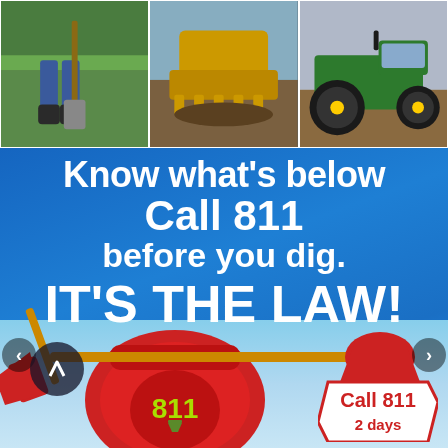[Figure (photo): Three photos across the top: person digging with shovel in grass, excavator bucket in dirt, green tractor in field]
Know what's below
Call 811
before you dig.
IT'S THE LAW!
[Figure (illustration): Red telephone with shovel handle through it, displaying 811 logo, with red shovel to the right. Sky background at bottom.]
Call 811
2 days...